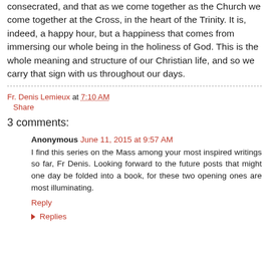consecrated, and that as we come together as the Church we come together at the Cross, in the heart of the Trinity. It is, indeed, a happy hour, but a happiness that comes from immersing our whole being in the holiness of God. This is the whole meaning and structure of our Christian life, and so we carry that sign with us throughout our days.
Fr. Denis Lemieux at 7:10 AM
Share
3 comments:
Anonymous  June 11, 2015 at 9:57 AM
I find this series on the Mass among your most inspired writings so far, Fr Denis. Looking forward to the future posts that might one day be folded into a book, for these two opening ones are most illuminating.
Reply
Replies